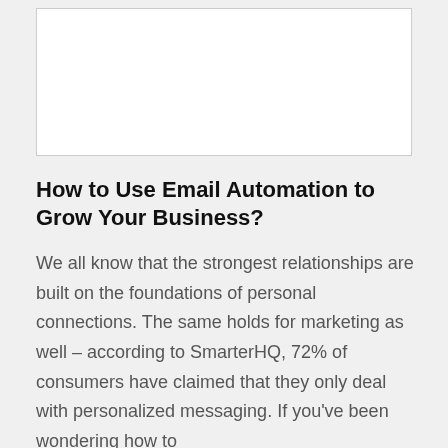[Figure (other): White image placeholder box at top of page]
How to Use Email Automation to Grow Your Business?
We all know that the strongest relationships are built on the foundations of personal connections. The same holds for marketing as well – according to SmarterHQ, 72% of consumers have claimed that they only deal with personalized messaging. If you've been wondering how to